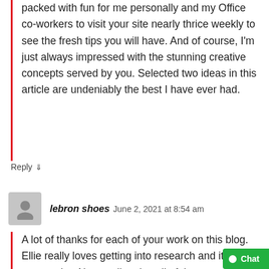packed with fun for me personally and my Office co-workers to visit your site nearly thrice weekly to see the fresh tips you will have. And of course, I'm just always impressed with the stunning creative concepts served by you. Selected two ideas in this article are undeniably the best I have ever had.
Reply ↓
lebron shoes  June 2, 2021 at 8:54 am
A lot of thanks for each of your work on this blog. Ellie really loves getting into research and it's easy to see why. Almost all notice all of the compelling mode you offer important tips vi…